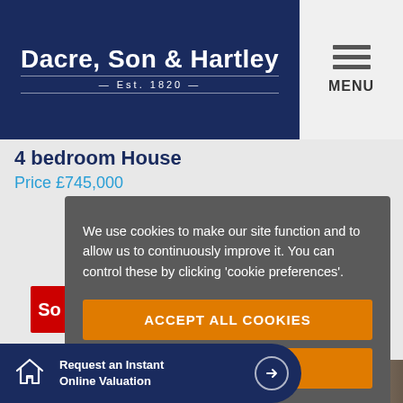[Figure (logo): Dacre, Son & Hartley Est. 1820 logo on dark navy background]
4 bedroom House
Price £745,000
We use cookies to make our site function and to allow us to continuously improve it. You can control these by clicking 'cookie preferences'.
ACCEPT ALL COOKIES
COOKIE PREFERENCES
Request an Instant Online Valuation